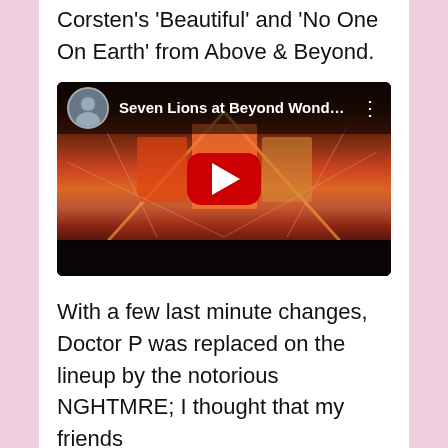Corsten's 'Beautiful' and 'No One On Earth' from Above & Beyond.
[Figure (screenshot): YouTube video embed showing 'Seven Lions at Beyond Wonderl...' with a play button overlay on a concert stage with colorful lights and crowd silhouette]
With a few last minute changes, Doctor P was replaced on the lineup by the notorious NGHTMRE; I thought that my friends